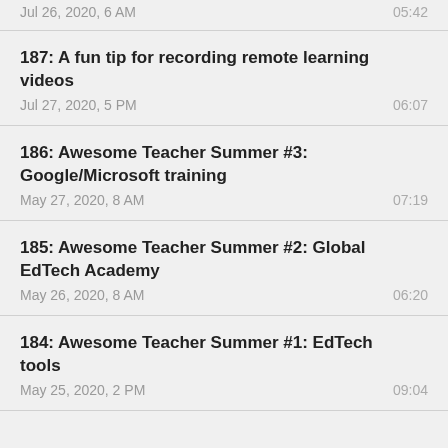Jul 26, 2020, 6 AM
187: A fun tip for recording remote learning videos
186: Awesome Teacher Summer #3: Google/Microsoft training
185: Awesome Teacher Summer #2: Global EdTech Academy
184: Awesome Teacher Summer #1: EdTech tools